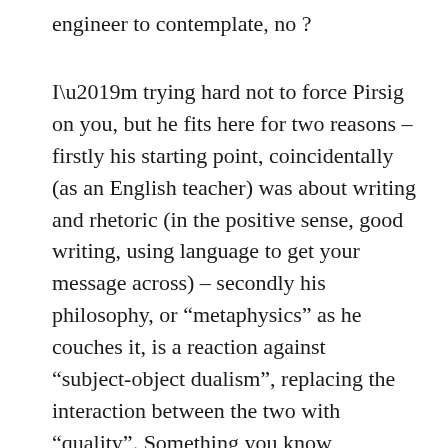engineer to contemplate, no ?
I'm trying hard not to force Pirsig on you, but he fits here for two reasons – firstly his starting point, coincidentally (as an English teacher) was about writing and rhetoric (in the positive sense, good writing, using language to get your message across) – secondly his philosophy, or “metaphysics” as he couches it, is a reaction against “subject-object dualism”, replacing the interaction between the two with “quality”. Something you know intuitively – and he makes it the rest of his life’s work to formalise this into something less woolly. (It’s largely about western vs eastern cultural outlooks, hence Zen, a more holistic “oneness”